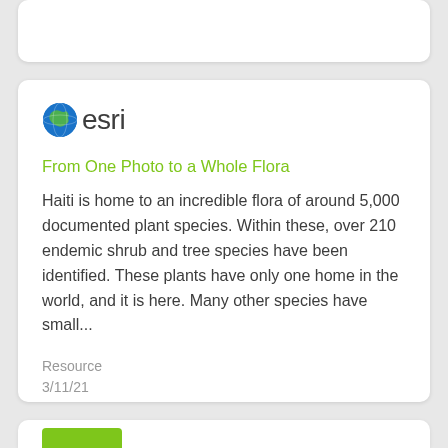[Figure (logo): Esri globe logo and wordmark 'esri']
From One Photo to a Whole Flora
Haiti is home to an incredible flora of around 5,000 documented plant species. Within these, over 210 endemic shrub and tree species have been identified. These plants have only one home in the world, and it is here. Many other species have small...
Resource
3/11/21